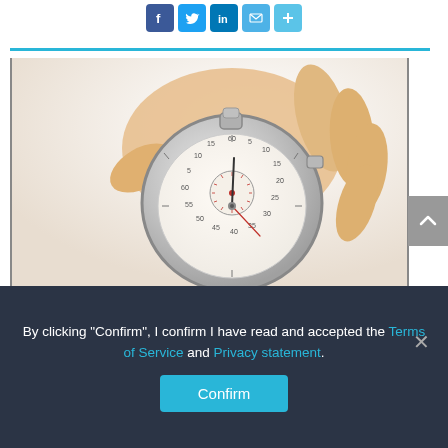[Figure (infographic): Row of social sharing icons: Facebook (blue f), Twitter (blue bird), LinkedIn (blue in), Email (blue envelope), Share/plus (blue plus)]
[Figure (photo): A hand holding a silver stopwatch/timer against a white background. The stopwatch face shows minute and second markings. The hand is holding it from below with the crown and buttons visible at the top.]
By clicking "Confirm", I confirm I have read and accepted the Terms of Service and Privacy statement.
[Figure (other): Confirm button (sky blue, rounded rectangle)]
[Figure (other): Scroll-to-top chevron button (grey square, white up arrow)]